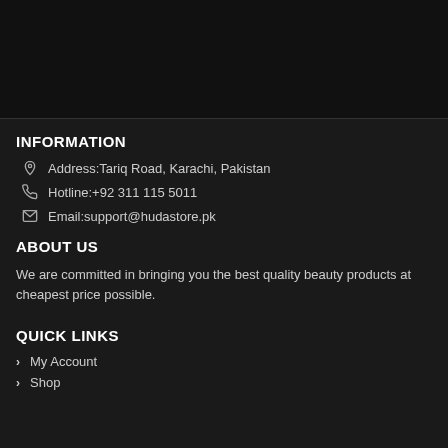INFORMATION
Address:Tariq Road, Karachi, Pakistan
Hotline:+92 311 115 5011
Email:support@hudastore.pk
ABOUT US
We are committed in bringing you the best quality beauty products at cheapest price possible.
QUICK LINKS
My Account
Shop